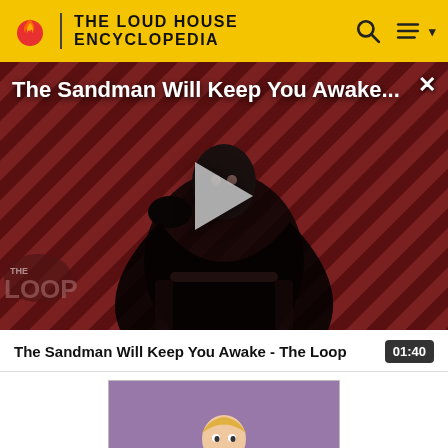THE LOUD HOUSE ENCYCLOPEDIA
[Figure (screenshot): Video thumbnail for 'The Sandman Will Keep You Awake...' showing a dark-cloaked figure with a raven on a striped red/brown background with 'THE LOOP' logo overlay and a play button in the center.]
The Sandman Will Keep You Awake - The Loop  01:40
[Figure (screenshot): Thumbnail of an animated character (boy in green shirt) at a desk/console, from The Loud House animated style, purple background.]